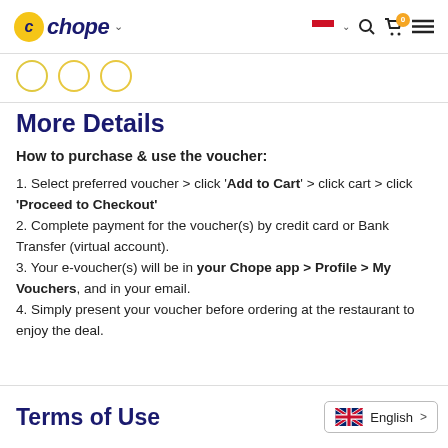Chope – header navigation with logo, Indonesia flag, search, cart, menu
[Figure (screenshot): Three partially visible step-indicator circles]
More Details
How to purchase & use the voucher:
1. Select preferred voucher > click 'Add to Cart' > click cart > click 'Proceed to Checkout'
2. Complete payment for the voucher(s) by credit card or Bank Transfer (virtual account).
3. Your e-voucher(s) will be in your Chope app > Profile > My Vouchers, and in your email.
4. Simply present your voucher before ordering at the restaurant to enjoy the deal.
Terms of Use